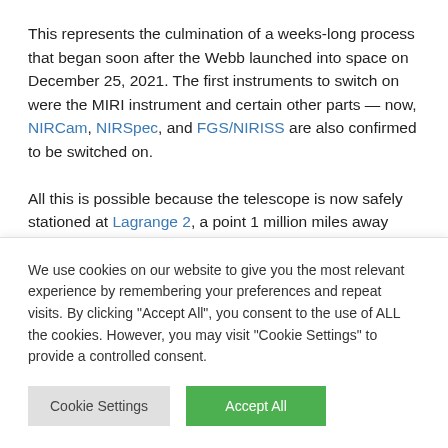This represents the culmination of a weeks-long process that began soon after the Webb launched into space on December 25, 2021. The first instruments to switch on were the MIRI instrument and certain other parts — now, NIRCam, NIRSpec, and FGS/NIRISS are also confirmed to be switched on.

All this is possible because the telescope is now safely stationed at Lagrange 2, a point 1 million miles away from
We use cookies on our website to give you the most relevant experience by remembering your preferences and repeat visits. By clicking "Accept All", you consent to the use of ALL the cookies. However, you may visit "Cookie Settings" to provide a controlled consent.